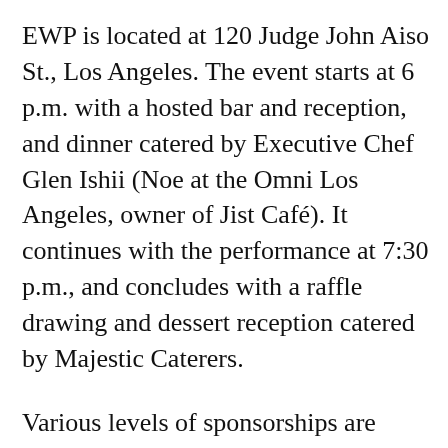EWP is located at 120 Judge John Aiso St., Los Angeles. The event starts at 6 p.m. with a hosted bar and reception, and dinner catered by Executive Chef Glen Ishii (Noe at the Omni Los Angeles, owner of Jist Café). It continues with the performance at 7:30 p.m., and concludes with a raffle drawing and dessert reception catered by Majestic Caterers.
Various levels of sponsorships are available, ranging from $1,000 to $10,000. Single tickets are $250 for VIP, $125 in the orchestra and $75 in the balcony. For more information on sponsorship and tickets,